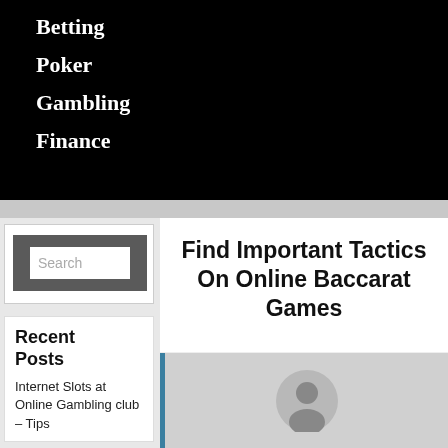Betting
Poker
Gambling
Finance
[Figure (screenshot): Search input box with gray background]
Recent Posts
Internet Slots at Online Gambling club – Tips
Find Important Tactics On Online Baccarat Games
[Figure (illustration): Author avatar placeholder with user silhouette icon on gray background, with blue left border bar]